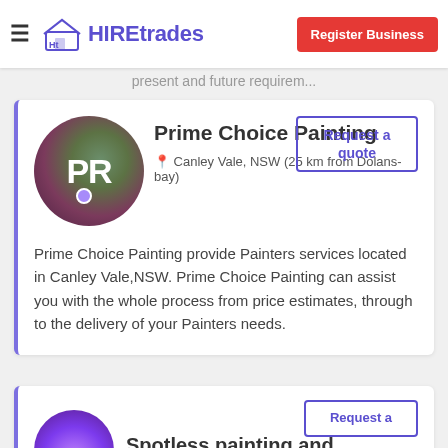HIREtrades — Register Business
present and future requirem...
Prime Choice Painting
Canley Vale, NSW (25 km from Dolans-bay)
Request a quote
Prime Choice Painting provide Painters services located in Canley Vale,NSW. Prime Choice Painting can assist you with the whole process from price estimates, through to the delivery of your Painters needs.
Spotless painting and
Request a